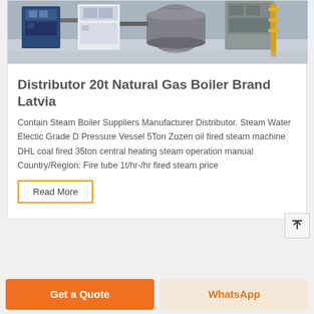[Figure (photo): Industrial boiler equipment in a factory setting showing multiple boiler units]
Distributor 20t Natural Gas Boiler Brand Latvia
Contain Steam Boiler Suppliers Manufacturer Distributor. Steam Water Electic Grade D Pressure Vessel 5Ton Zozen oil fired steam machine DHL coal fired 35ton central heating steam operation manual Country/Region: Fire tube 1t/hr-/hr fired steam price
Read More
Get a Quote
WhatsApp